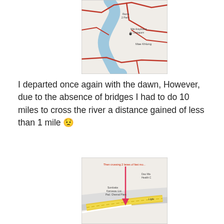[Figure (map): Street map showing a winding blue river with red road lines and place name labels including 'Mae Khlong']
I departed once again with the dawn, However, due to the absence of bridges I had to do 10 miles to cross the river a distance gained of less than 1 mile 😟
[Figure (map): Street map showing a yellow road/bridge area with a pink arrow pointing to it and text annotation 'Then crossing 2 lanes of fast moving...']